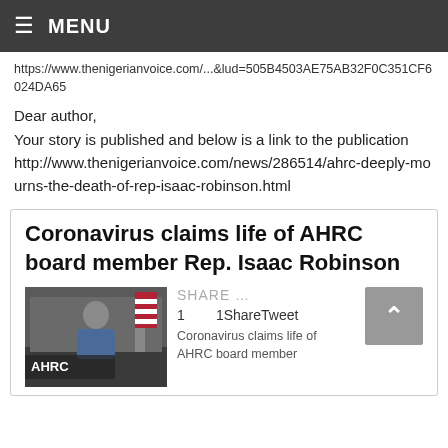MENU
https://www.thenigerianvoice.com/...?lud=505B4503AE75AB32F0C351CF6024DA65
Dear author,
Your story is published and below is a link to the publication
http://www.thenigerianvoice.com/news/286514/ahrc-deeply-mourns-the-death-of-rep-isaac-robinson.html
Coronavirus claims life of AHRC board member Rep. Isaac Robinson
[Figure (photo): Man in suit standing at AHRC podium with American flag]
SHARE …
1   1ShareTweet
Coronavirus claims life of AHRC board member